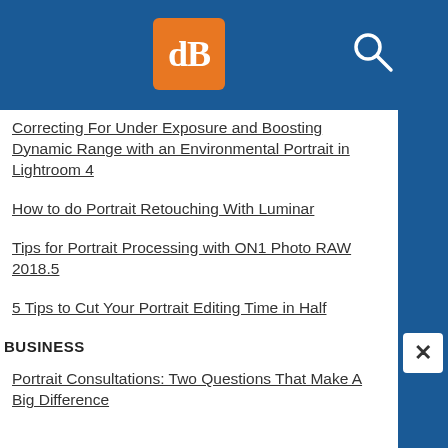dPS [logo] [search icon]
Correcting For Under Exposure and Boosting Dynamic Range with an Environmental Portrait in Lightroom 4
How to do Portrait Retouching With Luminar
Tips for Portrait Processing with ON1 Photo RAW 2018.5
5 Tips to Cut Your Portrait Editing Time in Half
BUSINESS
Portrait Consultations: Two Questions That Make A Big Difference